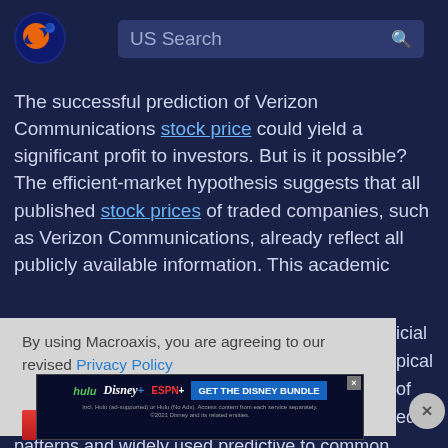Macroaxis — US Search
The successful prediction of Verizon Communications stock price could yield a significant profit to investors. But is it possible? The efficient-market hypothesis suggests that all published stock prices of traded companies, such as Verizon Communications, already reflect all publicly available information. This academic
By using Macroaxis, you are agreeing to our revised Privacy Policy
[Figure (screenshot): Disney Bundle advertisement banner: Hulu, Disney+, ESPN+ logos with 'GET THE DISNEY BUNDLE' call to action button]
patterns and widely used predictive to common indicators